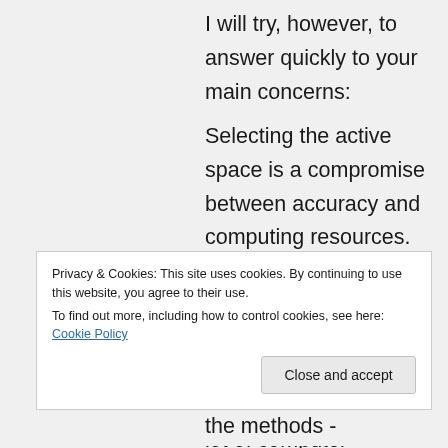I will try, however, to answer quickly to your main concerns:
Selecting the active space is a compromise between accuracy and computing resources. You could use a Complete Active Space (CASSCF) for best accuracy but then you would need to have a lot of computer resources! Probably those guys whose articles you are reading had them and thats why they went for it. Usually you
Privacy & Cookies: This site uses cookies. By continuing to use this website, you agree to their use.
To find out more, including how to control cookies, see here: Cookie Policy
For an introduction to the methods -